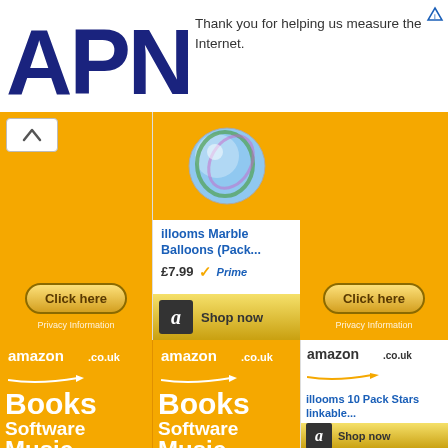[Figure (screenshot): APNIC logo in dark navy blue large text]
Thank you for helping us measure the Internet.
[Figure (screenshot): Amazon.co.uk ad with marble balloons product, price £7.99 with Prime badge, Shop now button. Two orange panels with Click here buttons.]
[Figure (screenshot): Amazon.co.uk Books Software Music DVD advertisement (left)]
[Figure (screenshot): Amazon.co.uk Books Software Music DVD advertisement (right)]
[Figure (screenshot): Amazon.co.uk illooms 10 Pack Stars linkable product ad with Shop now bar]